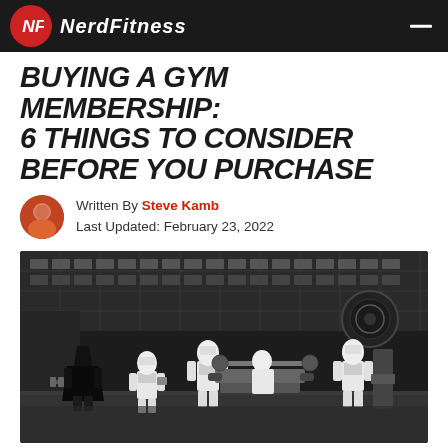NerdFitness
BUYING A GYM MEMBERSHIP: 6 THINGS TO CONSIDER BEFORE YOU PURCHASE
Written By Steve Kamb
Last Updated: February 23, 2022
[Figure (photo): Black and white photo of LEGO Star Wars stormtrooper and Darth Vader minifigures in a gym setting, lifting weights and using exercise equipment]